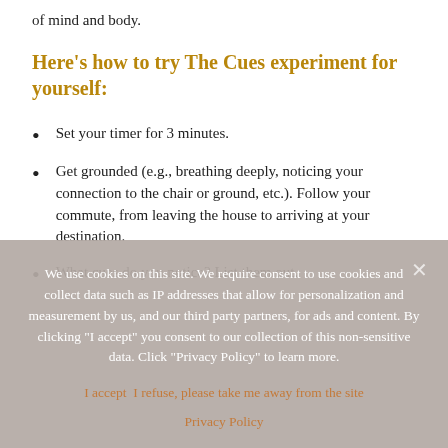of mind and body.
Here's how to try The Cues experiment for yourself:
Set your timer for 3 minutes.
Get grounded (e.g., breathing deeply, noticing your connection to the chair or ground, etc.). Follow your commute, from leaving the house to arriving at your destination.
What cues do you notice? List them out.
We use cookies on this site. We require consent to use cookies and collect data such as IP addresses that allow for personalization and measurement by us, and our third party partners, for ads and content. By clicking "I accept" you consent to our collection of this non-sensitive data. Click "Privacy Policy" to learn more.
I accept  I refuse, please take me away from the site
Privacy Policy